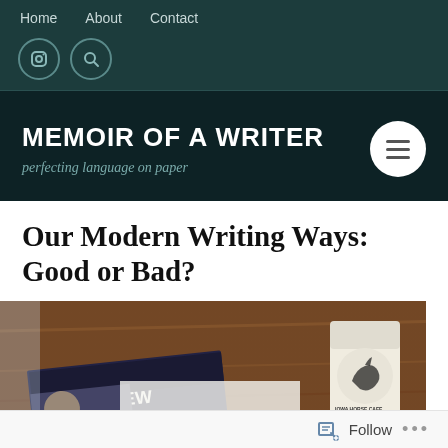Home   About   Contact
MEMOIR OF A WRITER
perfecting language on paper
Our Modern Writing Ways: Good or Bad?
[Figure (photo): Photo of a wooden table with an Iowa Review literary magazine and a coffee cup with a horse logo]
Follow ...